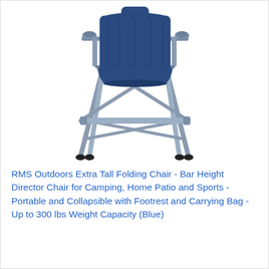[Figure (photo): A tall folding camping/director chair with a navy blue seat and backrest, grey metal frame with X-shaped cross bracing on the legs, armrests, and a footrest bar. The chair has cup holders on the armrests and four tall legs with black rubber feet.]
RMS Outdoors Extra Tall Folding Chair - Bar Height Director Chair for Camping, Home Patio and Sports - Portable and Collapsible with Footrest and Carrying Bag - Up to 300 lbs Weight Capacity (Blue)